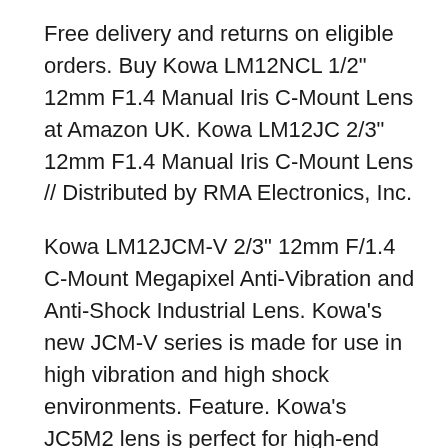Free delivery and returns on eligible orders. Buy Kowa LM12NCL 1/2" 12mm F1.4 Manual Iris C-Mount Lens at Amazon UK. Kowa LM12JC 2/3" 12mm F1.4 Manual Iris C-Mount Lens // Distributed by RMA Electronics, Inc.
Kowa LM12JCM-V 2/3" 12mm F/1.4 C-Mount Megapixel Anti-Vibration and Anti-Shock Industrial Lens. Kowa's new JCM-V series is made for use in high vibration and high shock environments. Feature. Kowa's JC5M2 lens is perfect for high-end applications that require the use of 5 megapixel cameras. With a fast F-Stop, locking screws, and a compact design, these lenses provide a good value between price versus performance.